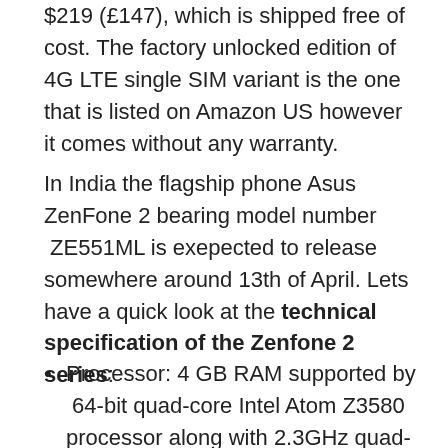$219 (£147), which is shipped free of cost. The factory unlocked edition of 4G LTE single SIM variant is the one that is listed on Amazon US however it comes without any warranty.
In India the flagship phone Asus ZenFone 2 bearing model number  ZE551ML is exepected to release somewhere around 13th of April. Lets have a quick look at the technical specification of the Zenfone 2 series:
Processor: 4 GB RAM supported by  64-bit quad-core Intel Atom Z3580 processor along with 2.3GHz quad-core Intel Atom processor.  This helps the phone to become super fast and it also